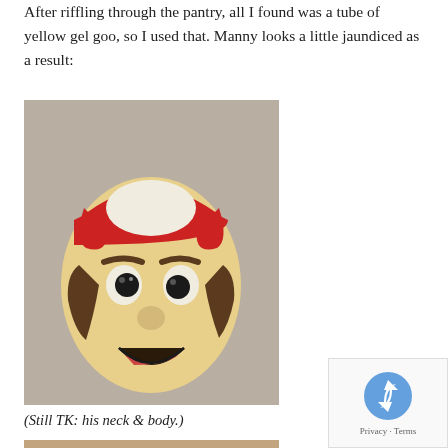After riffling through the pantry, all I found was a tube of yellow gel goo, so I used that. Manny looks a little jaundiced as a result:
[Figure (photo): A cake or cookie decorated to look like the face of Manny (a cartoon character), with a red and white cap, brown eyebrows, round eyes, a round nose, brown hair, and a smiling mouth. The face has a yellowish/jaundiced skin tone.]
(Still TK: his neck & body.)
[Figure (photo): Partial view of a tan/brown surface, likely the bottom of the cake showing the neck and body area still in progress.]